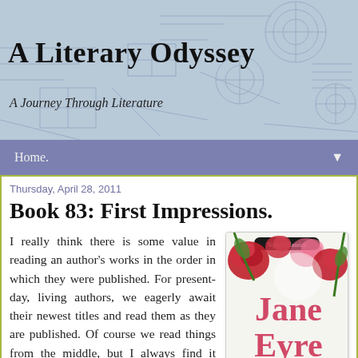A Literary Odyssey
A Journey Through Literature
Home. ▼
Thursday, April 28, 2011
Book 83: First Impressions.
I really think there is some value in reading an author's works in the order in which they were published. For present-day, living authors, we eagerly await their newest titles and read them as they are published. Of course we read things from the middle, but I always find it fascinating to see
[Figure (photo): Book cover of Jane Eyre, Signet Classics edition, featuring red roses and green stems on a white background with the title 'Jane Eyre' in large pink/red text.]